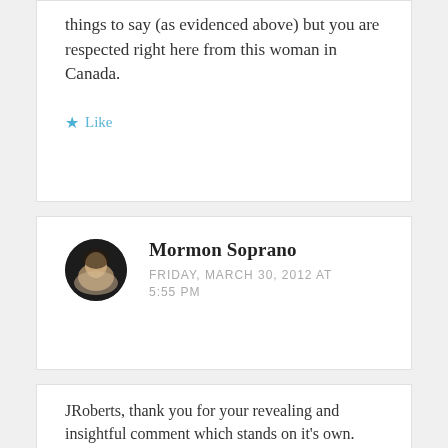things to say (as evidenced above) but you are respected right here from this woman in Canada.
Like
Mormon Soprano
FRIDAY, MARCH 30, 2012 AT 5:55 PM
JRoberts, thank you for your revealing and insightful comment which stands on it's own.